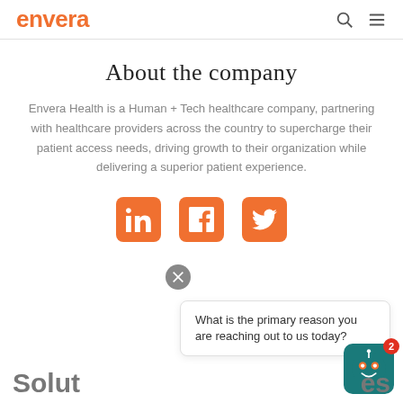envera
About the company
Envera Health is a Human + Tech healthcare company, partnering with healthcare providers across the country to supercharge their patient access needs, driving growth to their organization while delivering a superior patient experience.
[Figure (infographic): Three social media icons in orange rounded squares: LinkedIn, Facebook, Twitter]
What is the primary reason you are reaching out to us today?
Solut    es